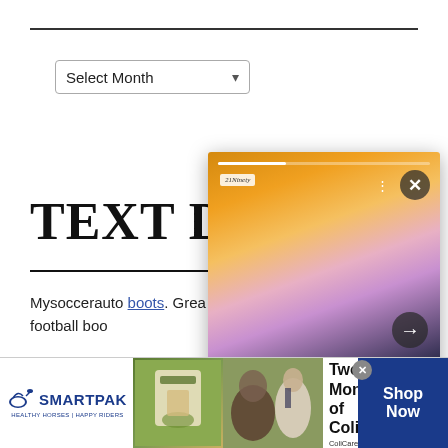Select Month
TEXT D
Mysoccerauto boots. Great football boo
Floryday.com offre les dernieres collections
[Figure (photo): Pop-up advertisement showing colorful headscarves/clothing with text: These Headscarves Will Transform Your Wardrobe In Minutes – 21Ninety]
[Figure (infographic): SmartPak bottom banner ad: 50% Off Two Months of ColiCare. ColiCare Eligible Supplements CODE: COLICARE10. Shop Now button.]